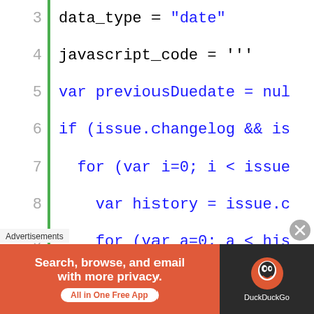[Figure (screenshot): Code editor screenshot showing JavaScript code lines 3-18 with line numbers in gray on left, green vertical bar separator, and code in blue monospace font. Lines show: data_type = "date", javascript_code = ''', var previousDuedate = nul, if (issue.changelog && is, for (var i=0; i < issue, var history = issue.c, for (var a=0; a < his, var item = history., if (item.field == ", previousDuedate =, i =  issue.change, a =    history.ite, }, }, }, }]
Advertisements
[Figure (screenshot): DuckDuckGo advertisement banner with orange/red background. Left side text: 'Search, browse, and email with more privacy. All in One Free App' button. Right side: DuckDuckGo logo on dark background.]